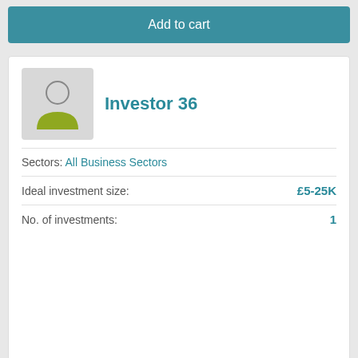Add to cart
Investor 36
Sectors: All Business Sectors
Ideal investment size: £5-25K
No. of investments: 1
Add to cart
Investor 35